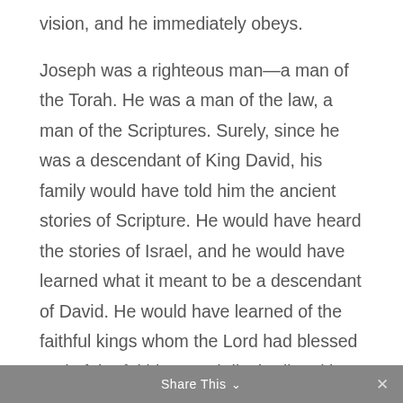vision, and he immediately obeys.

Joseph was a righteous man—a man of the Torah. He was a man of the law, a man of the Scriptures. Surely, since he was a descendant of King David, his family would have told him the ancient stories of Scripture. He would have heard the stories of Israel, and he would have learned what it meant to be a descendant of David. He would have learned of the faithful kings whom the Lord had blessed and of the faithless and disobedient kings whom the Lord had punished.
Share This ∨  ×